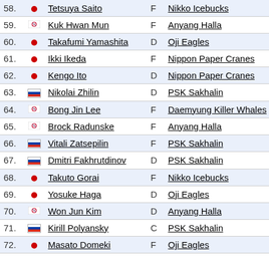| # | Flag | Name | Pos | Team |
| --- | --- | --- | --- | --- |
| 58. | JP | Tetsuya Saito | F | Nikko Icebucks |
| 59. | KR | Kuk Hwan Mun | F | Anyang Halla |
| 60. | JP | Takafumi Yamashita | D | Oji Eagles |
| 61. | JP | Ikki Ikeda | F | Nippon Paper Cranes |
| 62. | JP | Kengo Ito | D | Nippon Paper Cranes |
| 63. | RU | Nikolai Zhilin | D | PSK Sakhalin |
| 64. | KR | Bong Jin Lee | F | Daemyung Killer Whales |
| 65. | KR | Brock Radunske | F | Anyang Halla |
| 66. | RU | Vitali Zatsepilin | F | PSK Sakhalin |
| 67. | RU | Dmitri Fakhrutdinov | D | PSK Sakhalin |
| 68. | JP | Takuto Gorai | F | Nikko Icebucks |
| 69. | JP | Yosuke Haga | D | Oji Eagles |
| 70. | KR | Won Jun Kim | D | Anyang Halla |
| 71. | RU | Kirill Polyansky | C | PSK Sakhalin |
| 72. | JP | Masato Domeki | F | Oji Eagles |